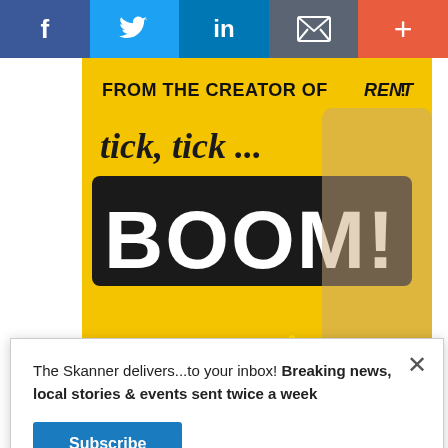[Figure (screenshot): Social media sharing bar with Facebook, Twitter, LinkedIn, email, and plus icons on colored backgrounds]
[Figure (photo): Advertisement for 'tick, tick... BOOM!' musical - yellow background with text 'FROM THE CREATOR OF RENT!' and large 'tick, tick... BOOM!' title. A young man in plaid shirt holding sparklers is shown.]
The Skanner delivers...to your inbox! Breaking news, local stories & events sent twice a week
Subscribe
[Figure (logo): infolinks logo in white text on blue background bar]
[Figure (screenshot): Bottom advertisement for Abogada Valentina Oronsaye law firm with phone number 713-334-7200]